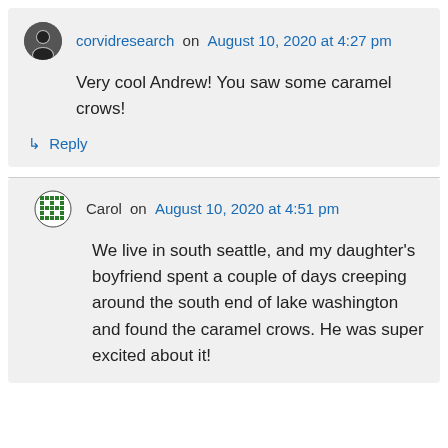corvidresearch on August 10, 2020 at 4:27 pm
Very cool Andrew! You saw some caramel crows!
Reply
Carol on August 10, 2020 at 4:51 pm
We live in south seattle, and my daughter's boyfriend spent a couple of days creeping around the south end of lake washington and found the caramel crows. He was super excited about it!